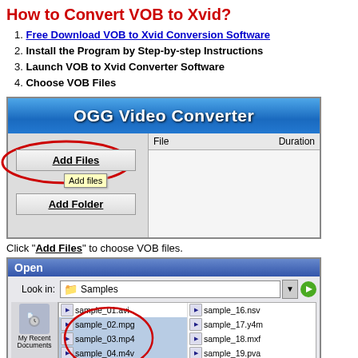How to Convert VOB to Xvid?
1. Free Download VOB to Xvid Conversion Software
2. Install the Program by Step-by-step Instructions
3. Launch VOB to Xvid Converter Software
4. Choose VOB Files
[Figure (screenshot): OGG Video Converter application window showing Add Files button circled in red with a tooltip, Add Folder button, and a file list area with File and Duration columns]
Click "Add Files" to choose VOB files.
[Figure (screenshot): Open file dialog showing Look in: Samples folder with a list of video files including sample_01.avi through sample_05.wmv and sample_16.nsv through sample_20.vdr, with some files circled in red]